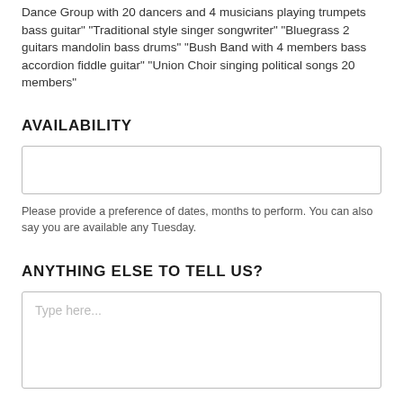Dance Group with 20 dancers and 4 musicians playing trumpets bass guitar" "Traditional style singer songwriter" "Bluegrass 2 guitars mandolin bass drums" "Bush Band with 4 members bass accordion fiddle guitar" "Union Choir singing political songs 20 members"
AVAILABILITY
Please provide a preference of dates, months to perform. You can also say you are available any Tuesday.
ANYTHING ELSE TO TELL US?
Type here...